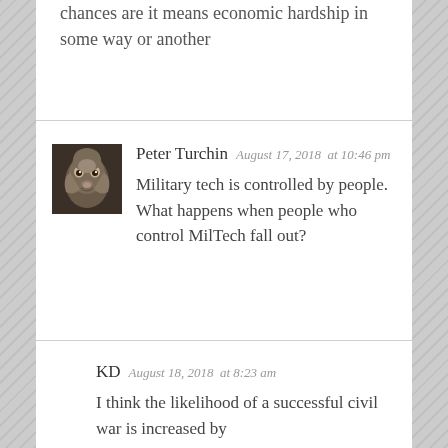chances are it means economic hardship in some way or another
Peter Turchin  August 17, 2018  at 10:46 pm
Military tech is controlled by people. What happens when people who control MilTech fall out?
KD  August 18, 2018  at 8:23 am
I think the likelihood of a successful civil war is increased by